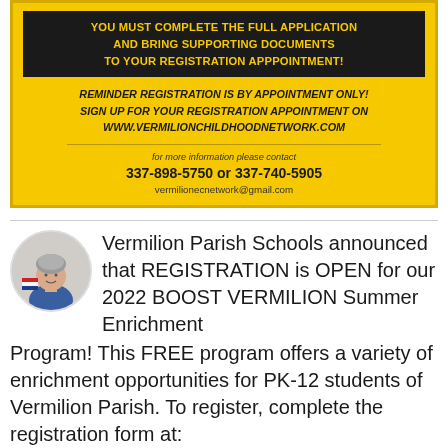[Figure (infographic): Yellow flyer with black box at top containing text about completing application and bringing supporting documents. Below: reminder that registration is by appointment only, website URL, divider line, contact information including phone numbers and email.]
Vermilion Parish Schools announced that REGISTRATION is OPEN for our 2022 BOOST VERMILION Summer Enrichment Program! This FREE program offers a variety of enrichment opportunities for PK-12 students of Vermilion Parish. To register, complete the registration form at: tinyurl.com/2022BOOSTVARML Deadline to register is Wednesday, March 23rd at midnight